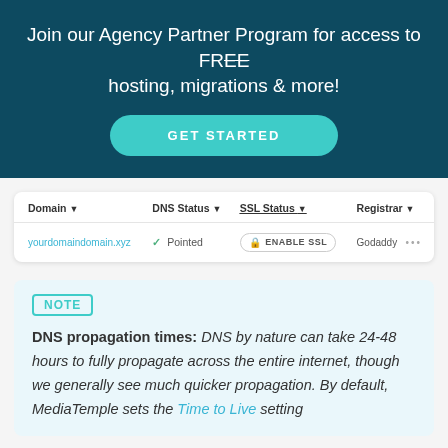Join our Agency Partner Program for access to FREE hosting, migrations & more!
GET STARTED
| Domain ↓ | DNS Status ↓ | SSL Status ↓ | Registrar ↓ |
| --- | --- | --- | --- |
| yourdomaindomain.xyz | ✓ Pointed | ENABLE SSL | Godaddy  ··· |
NOTE
DNS propagation times: DNS by nature can take 24-48 hours to fully propagate across the entire internet, though we generally see much quicker propagation. By default, MediaTemple sets the Time to Live setting